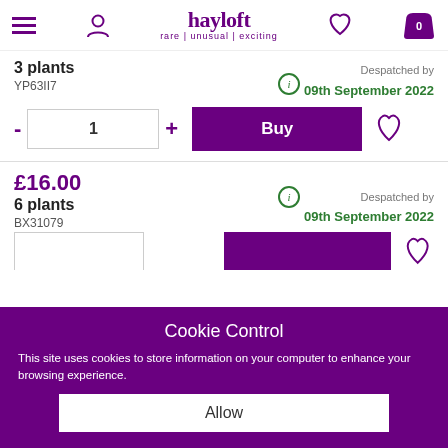hayloft — rare | unusual | exciting
3 plants
YP63117
Despatched by 09th September 2022
1
Buy
£16.00
6 plants
BX31079
Despatched by 09th September 2022
Cookie Control
This site uses cookies to store information on your computer to enhance your browsing experience.
Allow